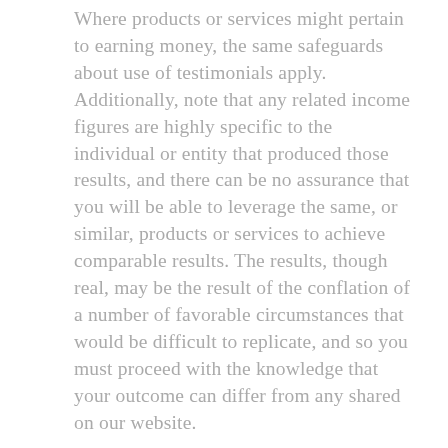Where products or services might pertain to earning money, the same safeguards about use of testimonials apply. Additionally, note that any related income figures are highly specific to the individual or entity that produced those results, and there can be no assurance that you will be able to leverage the same, or similar, products or services to achieve comparable results. The results, though real, may be the result of the conflation of a number of favorable circumstances that would be difficult to replicate, and so you must proceed with the knowledge that your outcome can differ from any shared on our website.